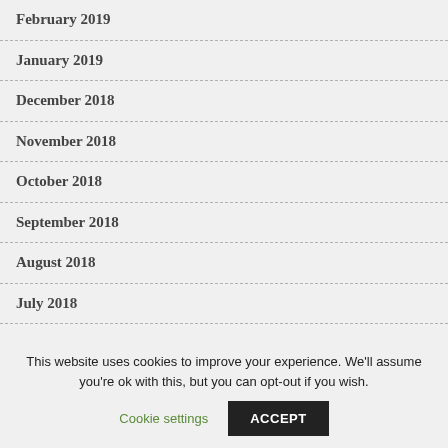February 2019
January 2019
December 2018
November 2018
October 2018
September 2018
August 2018
July 2018
This website uses cookies to improve your experience. We'll assume you're ok with this, but you can opt-out if you wish.
Cookie settings  ACCEPT